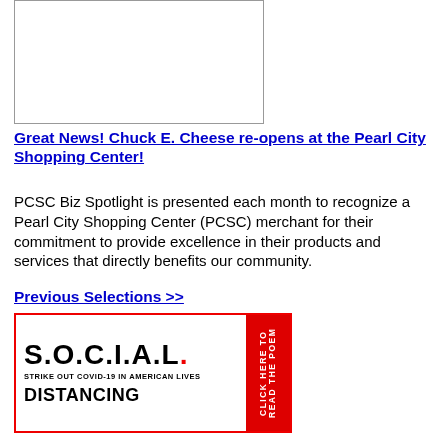[Figure (photo): Placeholder image box (white rectangle with border)]
Great News! Chuck E. Cheese re-opens at the Pearl City Shopping Center!
PCSC Biz Spotlight is presented each month to recognize a Pearl City Shopping Center (PCSC) merchant for their commitment to provide excellence in their products and services that directly benefits our community.
Previous Selections >>
[Figure (infographic): S.O.C.I.A.L. DISTANCING banner - Strike Out Covid-19 In American Lives. Red sidebar says CLICK HERE TO READ THE POEM.]
[Figure (photo): Stuck on Aloha advertisement - Celebrating the Pearl City Messages of Life W.A.L.L. Order your copy online at www.stuckonaloha.com or visit your favorite local bookseller.]
Hawaii Gold Sta...